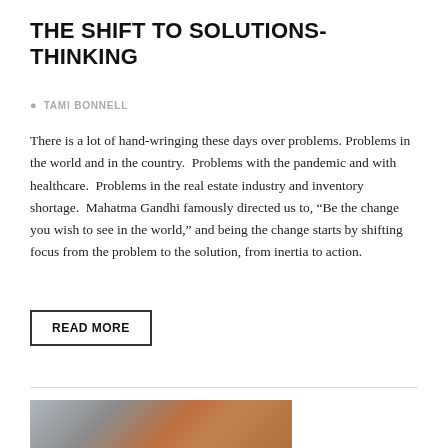THE SHIFT TO SOLUTIONS-THINKING
TAMI BONNELL
There is a lot of hand-wringing these days over problems. Problems in the world and in the country.  Problems with the pandemic and with healthcare.  Problems in the real estate industry and inventory shortage.  Mahatma Gandhi famously directed us to, “Be the change you wish to see in the world,” and being the change starts by shifting focus from the problem to the solution, from inertia to action.
READ MORE
[Figure (photo): Partial photo of a person or scene, mostly obscured, showing reddish-brown tones at the bottom of the page.]